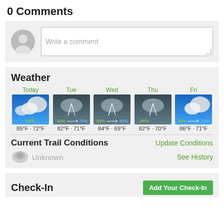0 Comments
[Figure (screenshot): Comment input box with avatar icon and 'Write a comment' placeholder text]
Weather
[Figure (infographic): 5-day weather forecast showing Today (80%, 85°F·72°F), Tue (40%→70%, 82°F·71°F), Wed (50%→80%, 84°F·69°F), Thu (80%, 82°F·70°F), Fri (40%→70%, 86°F·71°F)]
Current Trail Conditions
Update Conditions
Unknown
See History
Check-In
Add Your Check-In